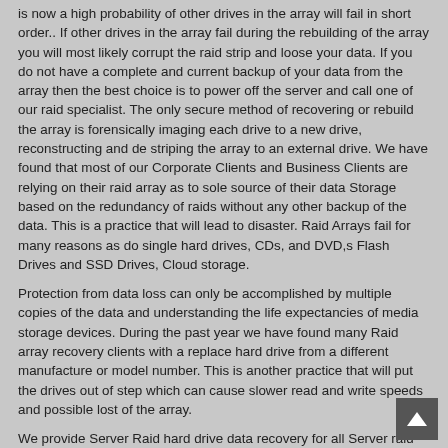is now a high probability of other drives in the array will fail in short order.. If other drives in the array fail during the rebuilding of the array you will most likely corrupt the raid strip and loose your data. If you do not have a complete and current backup of your data from the array then the best choice is to power off the server and call one of our raid specialist. The only secure method of recovering or rebuild the array is forensically imaging each drive to a new drive, reconstructing and de striping the array to an external drive. We have found that most of our Corporate Clients and Business Clients are relying on their raid array as to sole source of their data Storage based on the redundancy of raids without any other backup of the data. This is a practice that will lead to disaster. Raid Arrays fail for many reasons as do single hard drives, CDs, and DVD,s Flash Drives and SSD Drives, Cloud storage.
Protection from data loss can only be accomplished by multiple copies of the data and understanding the life expectancies of media storage devices. During the past year we have found many Raid array recovery clients with a replace hard drive from a different manufacture or model number. This is another practice that will put the drives out of step which can cause slower read and write speeds and possible lost of the array.
We provide Server Raid hard drive data recovery for all Server raid arrays using the following raid hardware controllers:
3ware Controllers, HP Controllers, IBM Controllers, Adaptec Controllers, NVIDIA controllers, Promise Technology controllers,